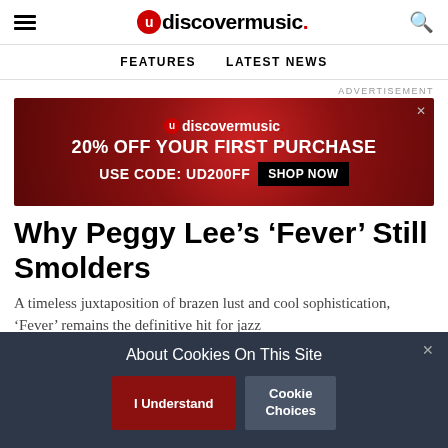udiscovermusic.
FEATURES   LATEST NEWS
ADVERTISEMENT
[Figure (infographic): udiscovermusic advertisement banner: dark red background with vinyl record, text reading '20% OFF YOUR FIRST PURCHASE USE CODE: UD200FF SHOP NOW']
Why Peggy Lee’s ‘Fever’ Still Smolders
A timeless juxtaposition of brazen lust and cool sophistication, ‘Fever’ remains the definitive hit for jazz
About Cookies On This Site
I Understand   Cookie Choices